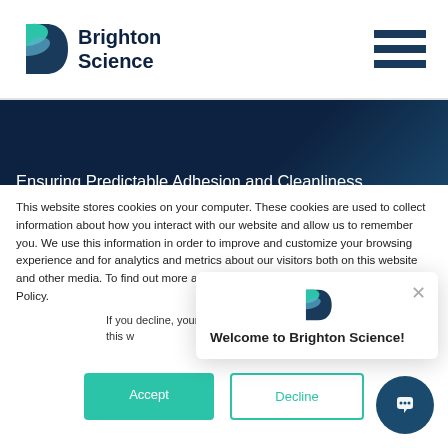Brighton Science
Ensuring Predictable Adhesion and Cleanliness by Finding the Source of Failures
This website stores cookies on your computer. These cookies are used to collect information about how you interact with our website and allow us to remember you. We use this information in order to improve and customize your browsing experience and for analytics and metrics about our visitors both on this website and other media. To find out more about the cookies we use, see our Privacy Policy.
If you decline, your information won't be tracked when you visit this website. A single cookie will be used in your browser to remember your preference not to be tracked.
Welcome to Brighton Science!